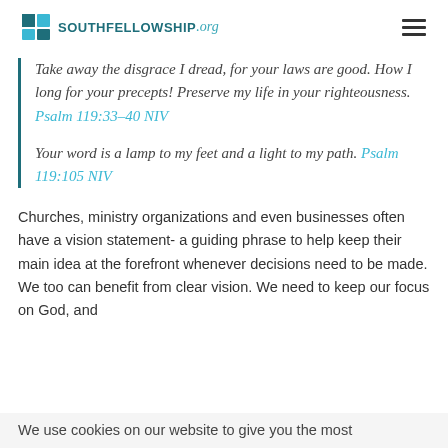SOUTHFELLOWSHIP.org
Take away the disgrace I dread, for your laws are good. How I long for your precepts! Preserve my life in your righteousness. Psalm 119:33-40 NIV
Your word is a lamp to my feet and a light to my path. Psalm 119:105 NIV
Churches, ministry organizations and even businesses often have a vision statement- a guiding phrase to help keep their main idea at the forefront whenever decisions need to be made. We too can benefit from clear vision. We need to keep our focus on God, and
We use cookies on our website to give you the most